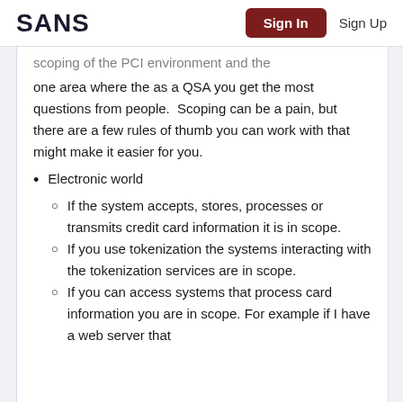SANS | Sign In | Sign Up
scoping of the PCI environment and the one area where the as a QSA you get the most questions from people. Scoping can be a pain, but there are a few rules of thumb you can work with that might make it easier for you.
Electronic world
If the system accepts, stores, processes or transmits credit card information it is in scope.
If you use tokenization the systems interacting with the tokenization services are in scope.
If you can access systems that process card information you are in scope. For example if I have a web server that